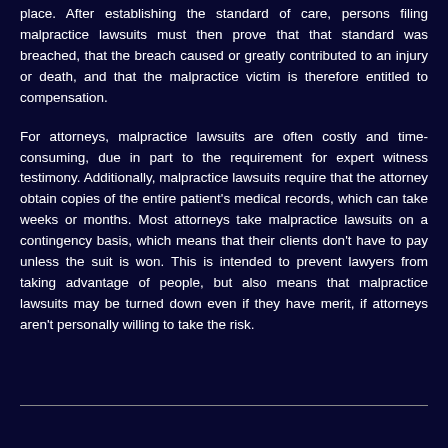place. After establishing the standard of care, persons filing malpractice lawsuits must then prove that that standard was breached, that the breach caused or greatly contributed to an injury or death, and that the malpractice victim is therefore entitled to compensation.
For attorneys, malpractice lawsuits are often costly and time-consuming, due in part to the requirement for expert witness testimony. Additionally, malpractice lawsuits require that the attorney obtain copies of the entire patient's medical records, which can take weeks or months. Most attorneys take malpractice lawsuits on a contingency basis, which means that their clients don't have to pay unless the suit is won. This is intended to prevent lawyers from taking advantage of people, but also means that malpractice lawsuits may be turned down even if they have merit, if attorneys aren't personally willing to take the risk.